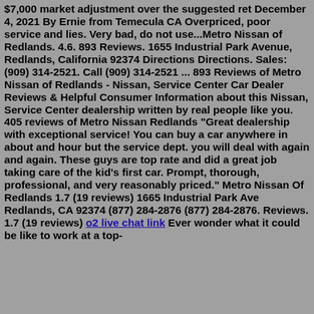$7,000 "market adjustment" over the suggested ret December 4, 2021 By Ernie from Temecula CA Overpriced, poor service and lies. Very bad, do not use...Metro Nissan of Redlands. 4.6. 893 Reviews. 1655 Industrial Park Avenue, Redlands, California 92374 Directions Directions. Sales: (909) 314-2521. Call (909) 314-2521 ... 893 Reviews of Metro Nissan of Redlands - Nissan, Service Center Car Dealer Reviews & Helpful Consumer Information about this Nissan, Service Center dealership written by real people like you. 405 reviews of Metro Nissan Redlands "Great dealership with exceptional service! You can buy a car anywhere in about and hour but the service dept. you will deal with again and again. These guys are top rate and did a great job taking care of the kid's first car. Prompt, thorough, professional, and very reasonably priced." Metro Nissan Of Redlands 1.7 (19 reviews) 1665 Industrial Park Ave Redlands, CA 92374 (877) 284-2876 (877) 284-2876. Reviews. 1.7 (19 reviews) o2 live chat link Ever wonder what it could be like to work at a top-